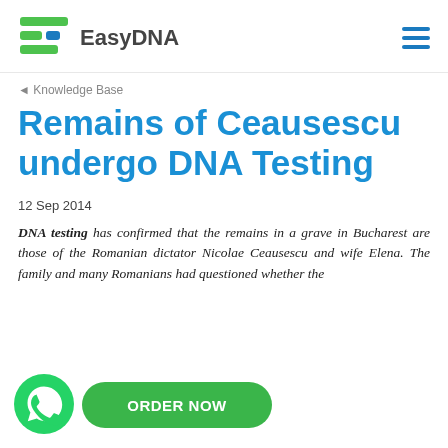EasyDNA
◄ Knowledge Base
Remains of Ceausescu undergo DNA Testing
12 Sep 2014
DNA testing has confirmed that the remains in a grave in Bucharest are those of the Romanian dictator Nicolae Ceausescu and wife Elena. The family and many Romanians had questioned whether the